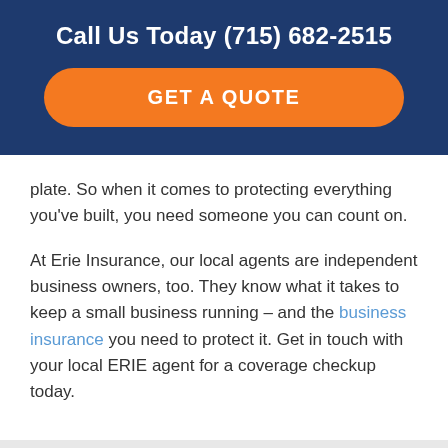Call Us Today (715) 682-2515
[Figure (other): Orange rounded button with text GET A QUOTE]
plate. So when it comes to protecting everything you've built, you need someone you can count on.
At Erie Insurance, our local agents are independent business owners, too. They know what it takes to keep a small business running – and the business insurance you need to protect it. Get in touch with your local ERIE agent for a coverage checkup today.